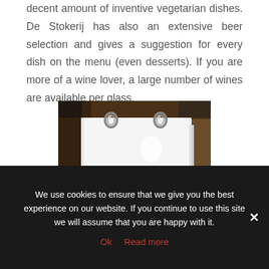decent amount of inventive vegetarian dishes. De Stokerij has also an extensive beer selection and gives a suggestion for every dish on the menu (even desserts). If you are more of a wine lover, a large number of wines are available per glass.
[Figure (photo): Photo of a ring-bound menu/book lying on a wooden table, with a white page open showing a dark ink mark at the bottom. Two metal rings are visible at the top.]
We use cookies to ensure that we give you the best experience on our website. If you continue to use this site we will assume that you are happy with it.
Ok   Read more